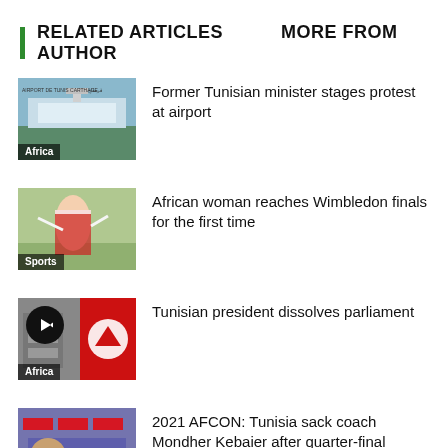RELATED ARTICLES    MORE FROM AUTHOR
Former Tunisian minister stages protest at airport
African woman reaches Wimbledon finals for the first time
Tunisian president dissolves parliament
2021 AFCON: Tunisia sack coach Mondher Kebaier after quarter-final